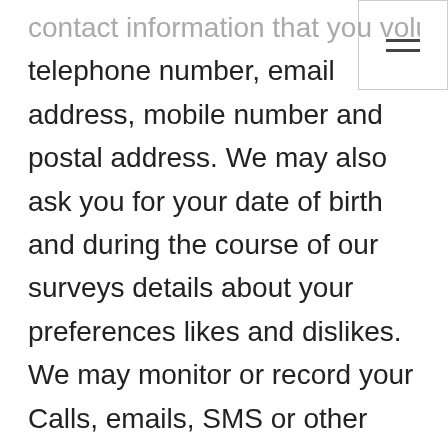☰
contact information that you volunteer such as your telephone number, email address, mobile number and postal address. We may also ask you for your date of birth and during the course of our surveys details about your preferences likes and dislikes. We may monitor or record your Calls, emails, SMS or other communications but we will do so in accordance with data protection legislation and other applicable law. Monitoring or Recording will always be for business purposes, such as for quality control and training (e.g. where you call our compliance or customer service department), to prevent unauthorized use of our telecommunication systems and sites, to ensure effective systems operation, to meet any legal obligation and/or to